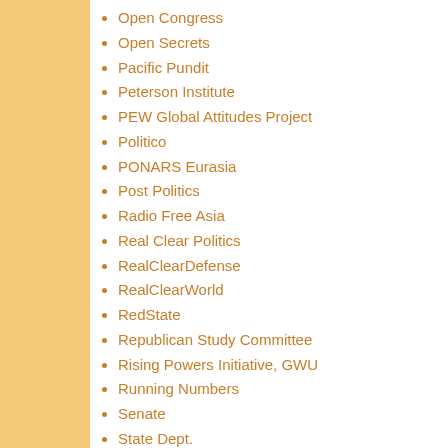Open Congress
Open Secrets
Pacific Pundit
Peterson Institute
PEW Global Attitudes Project
Politico
PONARS Eurasia
Post Politics
Radio Free Asia
Real Clear Politics
RealClearDefense
RealClearWorld
RedState
Republican Study Committee
Rising Powers Initiative, GWU
Running Numbers
Senate
State Dept.
Stimson Center
Talking Points Memo
Labels: Coleman Norman, Comfo... Oh Sonfa, Park Geun-hye, Park Y...
No comments:
Post a Comment
Intelligent comments and additio...
To leave a comment, cl...
SIGN IN WITH GOOGLE
Newer Post
Subscribe to: Post Comments (A...